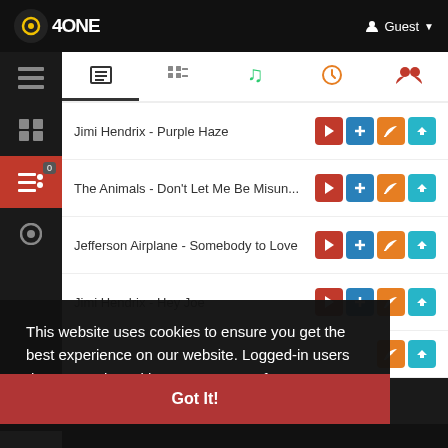MP3 Zone - Guest
Jimi Hendrix - Purple Haze
The Animals - Don't Let Me Be Misun...
Jefferson Airplane - Somebody to Love
Jimi Hendrix - Hey Joe
This website uses cookies to ensure you get the best experience on our website. Logged-in users don't see ads and have many extra features.  Learn More
Got It!